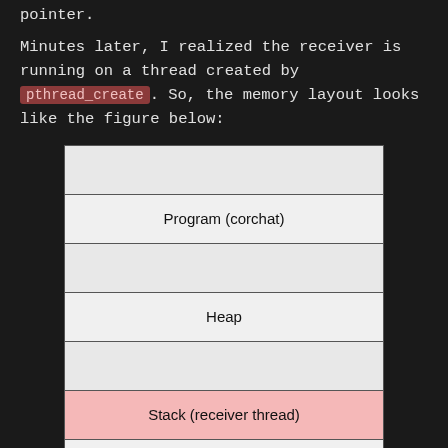pointer.
Minutes later, I realized the receiver is running on a thread created by pthread_create. So, the memory layout looks like the figure below:
[Figure (schematic): Memory layout diagram showing stacked memory segments: empty row, Program (corchat), empty row, Heap, empty row, Stack (receiver thread) in pink, Thread Local Storage]